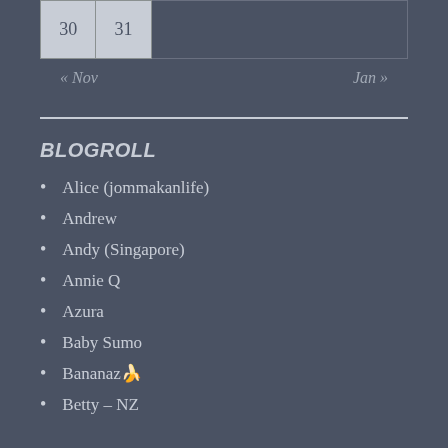| 30 | 31 |  |  |  |  |  |
« Nov    Jan »
BLOGROLL
Alice (jommakanlife)
Andrew
Andy (Singapore)
Annie Q
Azura
Baby Sumo
Bananaz🍌
Betty – NZ